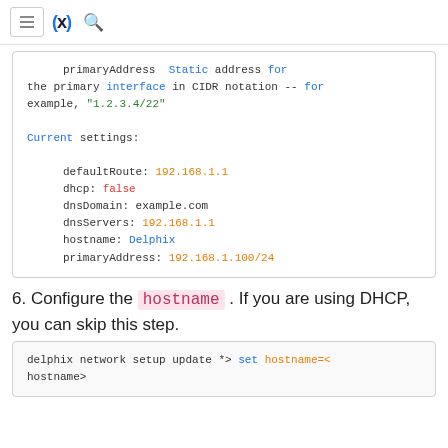≡  ∞  🔍
primaryAddress  Static address for the primary interface in CIDR notation -- for example, "1.2.3.4/22"

Current settings:

    defaultRoute: 192.168.1.1
    dhcp: false
    dnsDomain: example.com
    dnsServers: 192.168.1.1
    hostname: Delphix
    primaryAddress: 192.168.1.100/24
6. Configure the hostname . If you are using DHCP, you can skip this step.
delphix network setup update *> set hostname=<hostname>